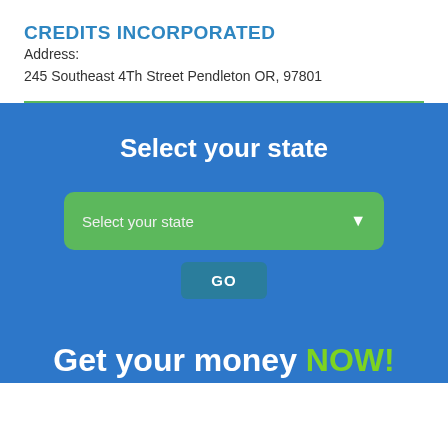CREDITS INCORPORATED
Address:
245 Southeast 4Th Street Pendleton OR, 97801
Select your state
[Figure (screenshot): Green dropdown selector labeled 'Select your state' with a down arrow, followed by a 'GO' button]
Get your money NOW!